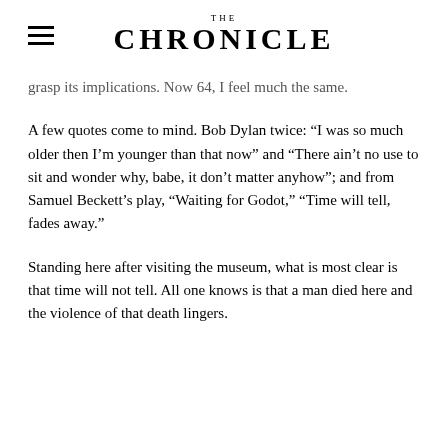THE CHRONICLE
grasp its implications. Now 64, I feel much the same.
A few quotes come to mind. Bob Dylan twice: “I was so much older then I’m younger than that now” and “There ain’t no use to sit and wonder why, babe, it don’t matter anyhow”; and from Samuel Beckett’s play, “Waiting for Godot,” “Time will tell, fades away.”
Standing here after visiting the museum, what is most clear is that time will not tell. All one knows is that a man died here and the violence of that death lingers.